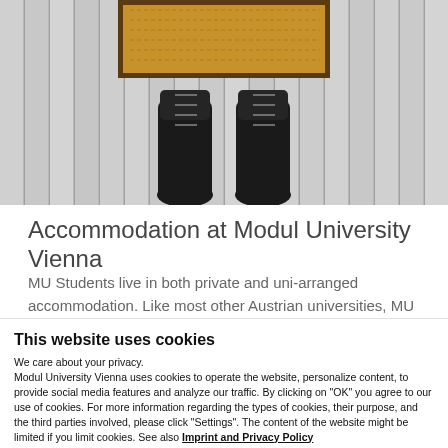[Figure (photo): Top-down view of person in black boots standing on white wooden floor boards in front of a welcome doormat with orange/tan color and dark border]
Accommodation at Modul University Vienna
MU Students live in both private and uni-arranged accommodation. Like most other Austrian universities, MU
This website uses cookies
We care about your privacy.
Modul University Vienna uses cookies to operate the website, personalize content, to provide social media features and analyze our traffic. By clicking on "OK" you agree to our use of cookies. For more information regarding the types of cookies, their purpose, and the third parties involved, please click “Settings”. The content of the website might be limited if you limit cookies. See also Imprint and Privacy Policy
Allow Cookies
Cookie settings